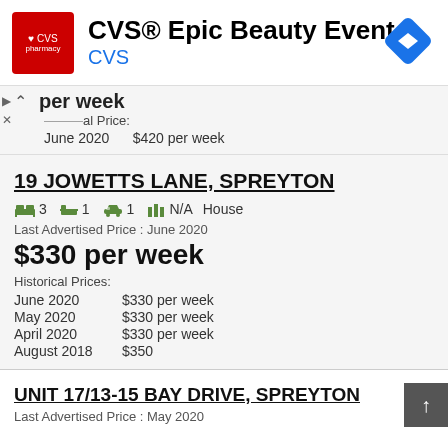[Figure (screenshot): CVS Pharmacy advertisement banner with red CVS logo, title 'CVS® Epic Beauty Event', brand name 'CVS' in blue, and a blue navigation diamond icon on the right.]
per week
al Price:
June 2020    $420 per week
19 JOWETTS LANE, SPREYTON
3   1   1   N/A   House
Last Advertised Price : June 2020
$330 per week
Historical Prices:
June 2020    $330 per week
May 2020     $330 per week
April 2020   $330 per week
August 2018  $350
UNIT 17/13-15 BAY DRIVE, SPREYTON
Last Advertised Price : May 2020